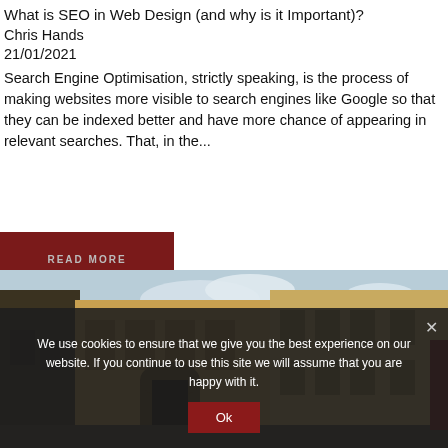What is SEO in Web Design (and why is it Important)?
Chris Hands
21/01/2021
Search Engine Optimisation, strictly speaking, is the process of making websites more visible to search engines like Google so that they can be indexed better and have more chance of appearing in relevant searches. That, in the...
READ MORE
[Figure (photo): Street-level photo of old European buildings with a golden facade, archway, and cloudy sky]
We use cookies to ensure that we give you the best experience on our website. If you continue to use this site we will assume that you are happy with it.
Ok